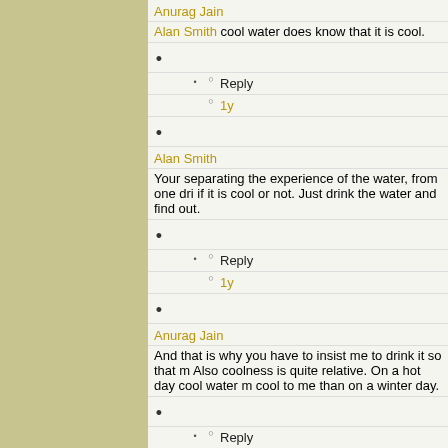Anurag Jain
Alan Smith cool water does know that it is cool.
Reply
1y
Alan Smith
Your separating the experience of the water, from one dri if it is cool or not. Just drink the water and find out.
Reply
1y
Anurag Jain
And that is why you have to insist me to drink it so that m Also coolness is quite relative. On a hot day cool water m cool to me than on a winter day.
Reply
1y
Alan Smith
And thus 1,000 things are constructed in all directions. Pa